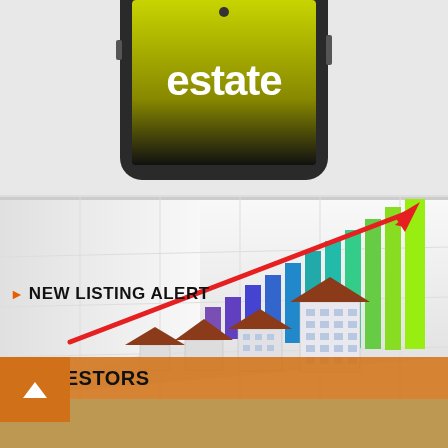[Figure (photo): Smartphone showing the word 'estate' on a black and yellow/green background, representing a real estate mobile app]
▶ NEW LISTING ALERT
[Figure (infographic): 3D bar chart with rainbow-colored rising bars and miniature house/building models in foreground, with a red upward-trending arrow overlay, representing real estate investment growth]
▶ INVESTORS
[Figure (photo): Partial view of another section image at the bottom of the page]